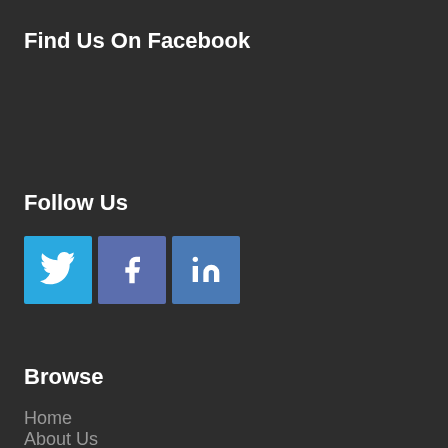Find Us On Facebook
Follow Us
[Figure (infographic): Three social media icon buttons: Twitter (blue bird icon), Facebook (blue f icon), LinkedIn (blue in icon)]
Browse
Home
About Us
Services
Blog
Contact Us